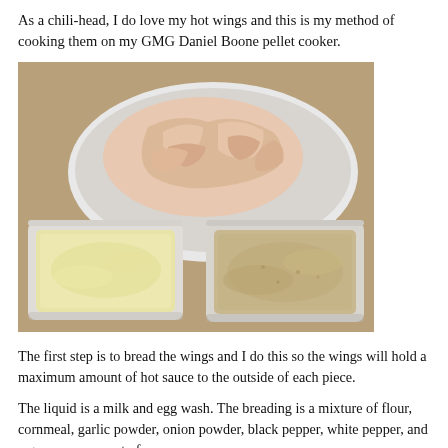As a chili-head, I do love my hot wings and this is my method of cooking them on my GMG Daniel Boone pellet cooker.
[Figure (photo): Photo of raw chicken wings on a white plate at the back, with two white rectangular trays in front: left tray contains a pale yellow milk and egg wash, right tray contains a tan flour/cornmeal breading mixture. Set on a wooden table surface.]
The first step is to bread the wings and I do this so the wings will hold a maximum amount of hot sauce to the outside of each piece.
The liquid is a milk and egg wash. The breading is a mixture of flour, cornmeal, garlic powder, onion powder, black pepper, white pepper, and a generous amount of cayenne pepper.